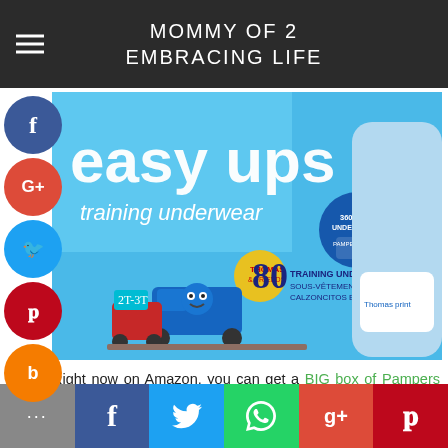MOMMY OF 2 EMBRACING LIFE
[Figure (photo): Pampers Easy Ups training underwear box featuring Thomas & Friends, 80 count, size 2T-3T, with child wearing the product]
Right now on Amazon, you can get a BIG box of Pampers Easy Ups for just $14.95 Shipped when you clip the $5 off coupon!! You also must be an Amazon Family Member and